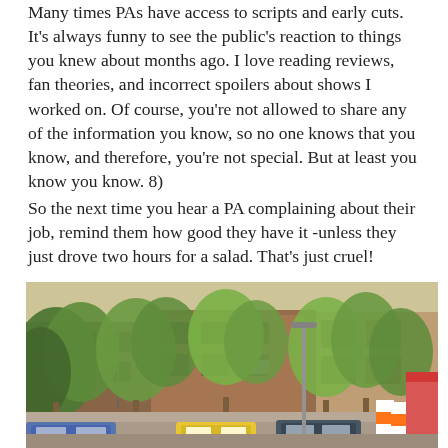Many times PAs have access to scripts and early cuts. It's always funny to see the public's reaction to things you knew about months ago. I love reading reviews, fan theories, and incorrect spoilers about shows I worked on. Of course, you're not allowed to share any of the information you know, so no one knows that you know, and therefore, you're not special. But at least you know you know. 8)
So the next time you hear a PA complaining about their job, remind them how good they have it -unless they just drove two hours for a salad. That's just cruel!
[Figure (photo): Street scene in an urban neighborhood with lush green trees, brick apartment buildings, parked cars, and construction barriers with orange and white stripes visible on the right side of the street.]